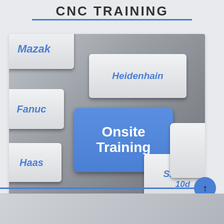CNC TRAINING
[Figure (photo): Keyboard image with keys labeled Mazak, Fanuc, Heidenhain, Haas, Siemens, and a prominent blue key labeled Onsite Training]
Onsite Training